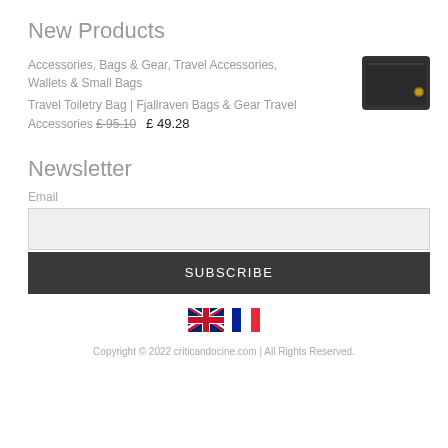New Products
Accessories, Bags & Gear, Travel Accessories, Wallets & Small Bags
Travel Toiletry Bag | Fjallraven Bags & Gear Travel Accessories £95.10  £ 49.28
[Figure (photo): Black travel toiletry bag product image]
Newsletter
Email
SUBSCRIBE
[Figure (illustration): UK flag and French flag icons]
Copyright © 2022 criticandocine.com | All Rights Reserved.